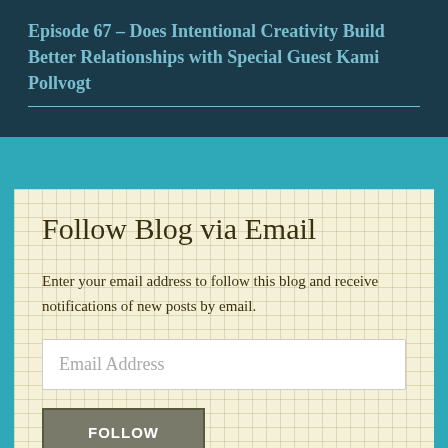Episode 67 – Does Intentional Creativity Build Better Relationships with Special Guest Kami Pollvogt
Follow Blog via Email
Enter your email address to follow this blog and receive notifications of new posts by email.
[Figure (other): Email address input field with placeholder text 'Email Address']
[Figure (other): FOLLOW button in grey]